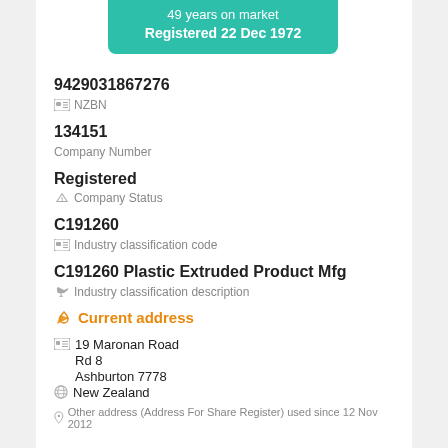[Figure (infographic): Teal/green rounded banner showing '49 years on market' and 'Registered 22 Dec 1972']
9429031867276
NZBN
134151
Company Number
Registered
Company Status
C191260
Industry classification code
C191260 Plastic Extruded Product Mfg
Industry classification description
Current address
19 Maronan Road
Rd 8
Ashburton 7778
New Zealand
Other address (Address For Share Register) used since 12 Nov 2012